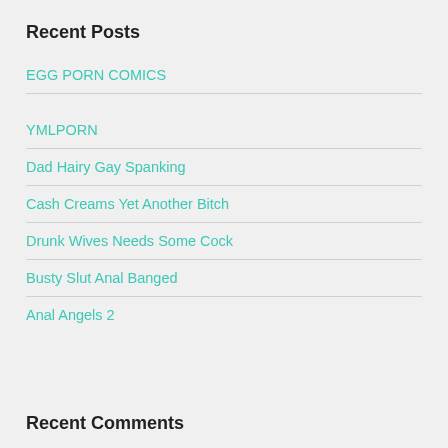Recent Posts
EGG PORN COMICS
YMLPORN
Dad Hairy Gay Spanking
Cash Creams Yet Another Bitch
Drunk Wives Needs Some Cock
Busty Slut Anal Banged
Anal Angels 2
Recent Comments